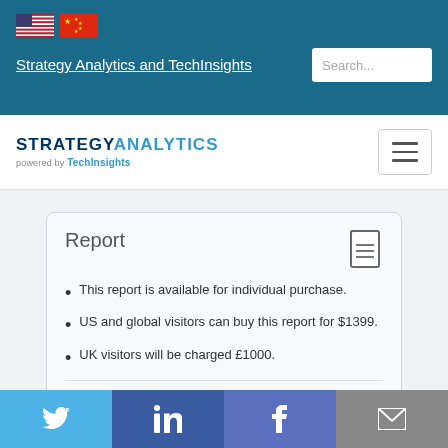Strategy Analytics and TechInsights
[Figure (logo): Strategy Analytics powered by TechInsights logo with hamburger menu]
Report
This report is available for individual purchase.
US and global visitors can buy this report for $1399.
UK visitors will be charged £1000.
Analyst briefing